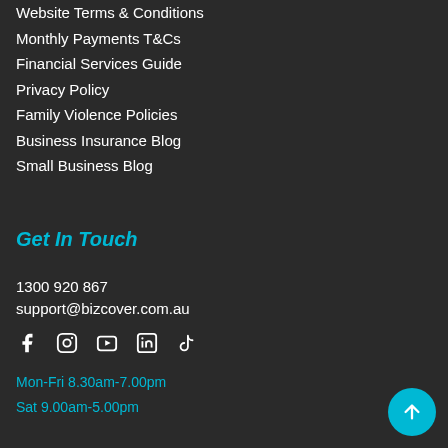Website Terms & Conditions
Monthly Payments T&Cs
Financial Services Guide
Privacy Policy
Family Violence Policies
Business Insurance Blog
Small Business Blog
Get In Touch
1300 920 867
support@bizcover.com.au
[Figure (other): Social media icons: Facebook, Instagram, YouTube, LinkedIn, TikTok]
Mon-Fri 8.30am-7.00pm
Sat 9.00am-5.00pm